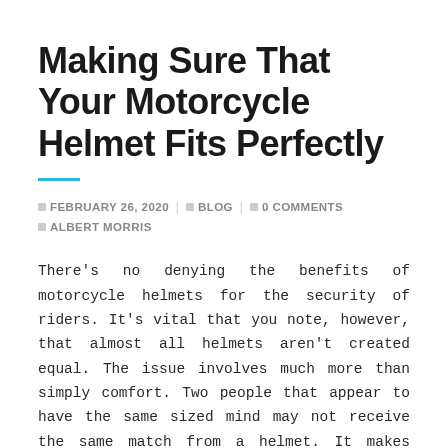Making Sure That Your Motorcycle Helmet Fits Perfectly
FEBRUARY 26, 2020  BLOG  0 COMMENTS  ALBERT MORRIS
There's no denying the benefits of motorcycle helmets for the security of riders. It's vital that you note, however, that almost all helmets aren't created equal. The issue involves much more than simply comfort. Two people that appear to have the same sized mind may not receive the same match from a helmet. It makes sense that before acquiring one, a good match should be ensured.